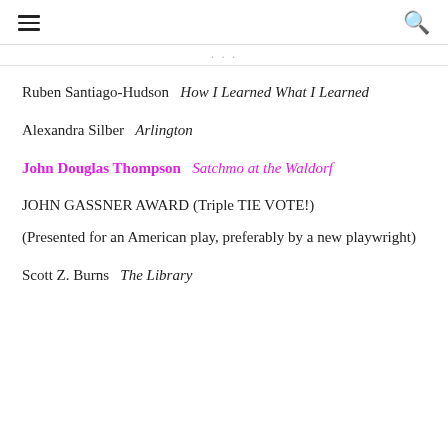[hamburger menu] [search icon]
…
Ruben Santiago-Hudson   How I Learned What I Learned
Alexandra Silber   Arlington
John Douglas Thompson   Satchmo at the Waldorf
JOHN GASSNER AWARD (Triple TIE VOTE!)
(Presented for an American play, preferably by a new playwright)
Scott Z. Burns   The Library